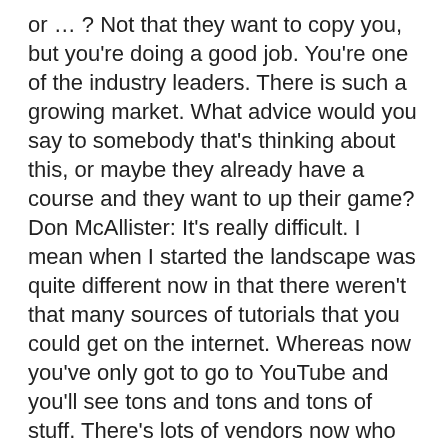or … ? Not that they want to copy you, but you're doing a good job. You're one of the industry leaders. There is such a growing market. What advice would you say to somebody that's thinking about this, or maybe they already have a course and they want to up their game? Don McAllister: It's really difficult. I mean when I started the landscape was quite different now in that there weren't that many sources of tutorials that you could get on the internet. Whereas now you've only got to go to YouTube and you'll see tons and tons and tons of stuff. There's lots of vendors now who have set up shop and selling courses at such and such. I think the difficult thing for people now is to get their voice heard, is to really just make themselves visible to people. I don't particularly know what the answer is, but I think that's the major problem for people these days. Obviously you've got your social media and stuff like that, but it's really